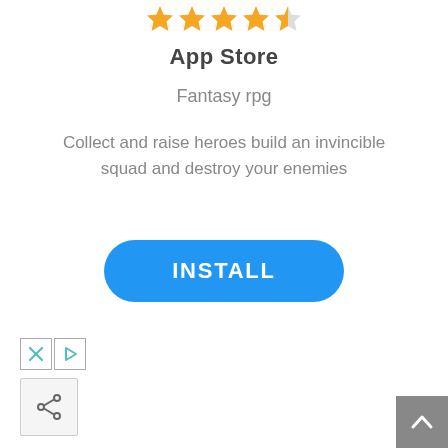[Figure (other): Five-star rating row with golden stars (4 full, 1 half)]
App Store
Fantasy rpg
Collect and raise heroes build an invincible squad and destroy your enemies
[Figure (other): INSTALL button — blue rounded rectangle with white bold text]
[Figure (other): Ad control icons: X close button and play/forward button]
[Figure (other): Share button icon — square with share arrow symbol]
[Figure (other): Scroll-to-top button — gray square with upward arrow]